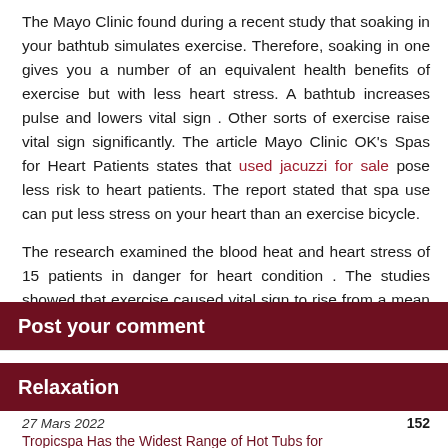The Mayo Clinic found during a recent study that soaking in your bathtub simulates exercise. Therefore, soaking in one gives you a number of an equivalent health benefits of exercise but with less heart stress. A bathtub increases pulse and lowers vital sign . Other sorts of exercise raise vital sign significantly. The article Mayo Clinic OK's Spas for Heart Patients states that used jacuzzi for sale pose less risk to heart patients. The report stated that spa use can put less stress on your heart than an exercise bicycle.
The research examined the blood heat and heart stress of 15 patients in danger for heart condition . The studies showed that exercise caused vital sign to rise from a mean of 121/73 to 170/84. In contrast, sitting during a spa made the vital sign drop from a mean of 117/77 to 106/61.
Post your comment
Relaxation
27 Mars 2022	152
Tropicspa Has the Widest Range of Hot Tubs for